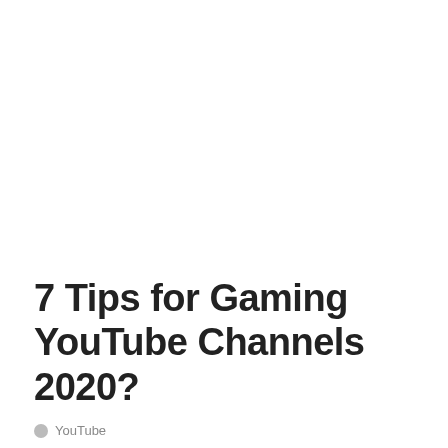7 Tips for Gaming YouTube Channels 2020?
YouTube